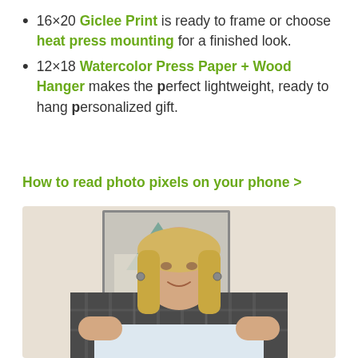16×20 Giclee Print is ready to frame or choose heat press mounting for a finished look.
12×18 Watercolor Press Paper + Wood Hanger makes the perfect lightweight, ready to hang personalized gift.
How to read photo pixels on your phone >
[Figure (photo): A blonde woman holding a large white print/paper in front of her, standing in a room with framed abstract art on the wall behind her.]